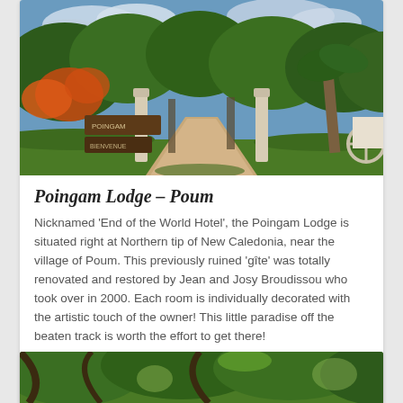[Figure (photo): Entrance to Poingam Lodge showing a dirt driveway flanked by tall white wooden pillars/totem-like posts, lush tropical trees and orange flowering plants on either side, under a partly cloudy blue sky.]
Poingam Lodge – Poum
Nicknamed 'End of the World Hotel', the Poingam Lodge is situated right at Northern tip of New Caledonia, near the village of Poum. This previously ruined 'gîte' was totally renovated and restored by Jean and Josy Broudissou who took over in 2000. Each room is individually decorated with the artistic touch of the owner! This little paradise off the beaten track is worth the effort to get there!
ADD TO QUOTE
[Figure (photo): Partial view of a tropical garden scene with tree branches and green foliage.]